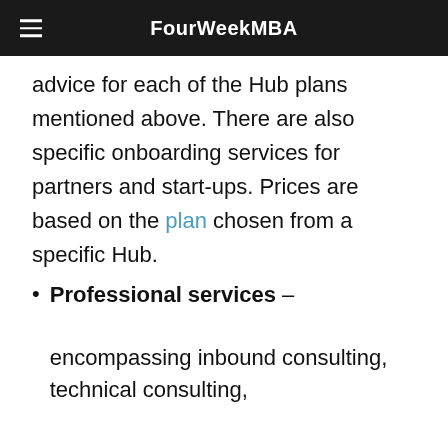FourWeekMBA
advice for each of the Hub plans mentioned above. There are also specific onboarding services for partners and start-ups. Prices are based on the plan chosen from a specific Hub.
Professional services – encompassing inbound consulting, technical consulting,